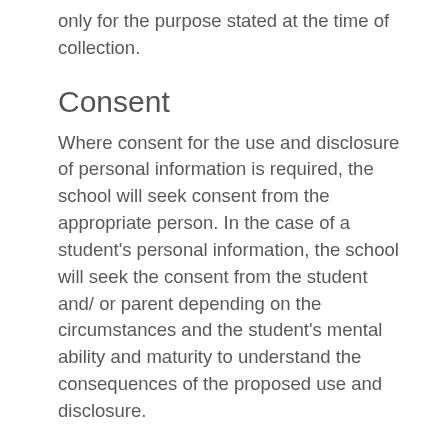only for the purpose stated at the time of collection.
Consent
Where consent for the use and disclosure of personal information is required, the school will seek consent from the appropriate person. In the case of a student's personal information, the school will seek the consent from the student and/ or parent depending on the circumstances and the student's mental ability and maturity to understand the consequences of the proposed use and disclosure.
Cookies
A cookie is a small text file stored by your